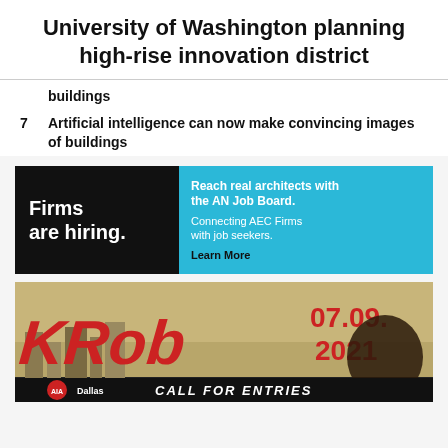University of Washington planning high-rise innovation district
buildings
7  Artificial intelligence can now make convincing images of buildings
[Figure (infographic): Job board advertisement: left black panel with white text 'Firms are hiring.' and right cyan panel with text 'Reach real architects with the AN Job Board. Connecting AEC Firms with job seekers. Learn More']
[Figure (infographic): KRob Call for Entries advertisement showing stylized 'KRob' text in red with date 07.09.2021 and 'CALL FOR ENTRIES' text, AIA Dallas logo, illustrated architectural background]